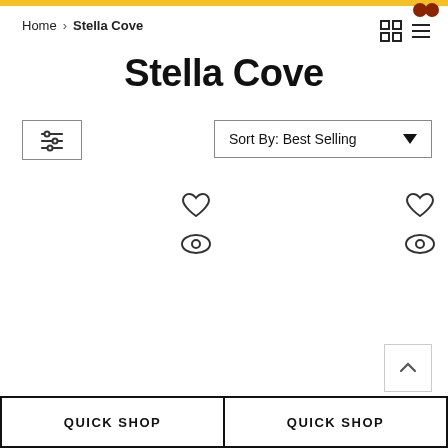Home > Stella Cove
Stella Cove
[Figure (screenshot): Filter button with sliders icon on the left and Sort By: Best Selling dropdown on the right]
[Figure (screenshot): Two product card placeholders with heart (wishlist) and eye (quick view) icons, and QUICK SHOP buttons at the bottom]
QUICK SHOP
QUICK SHOP